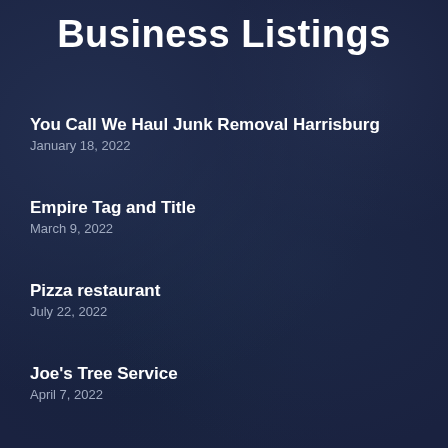Business Listings
You Call We Haul Junk Removal Harrisburg
January 18, 2022
Empire Tag and Title
March 9, 2022
Pizza restaurant
July 22, 2022
Joe's Tree Service
April 7, 2022